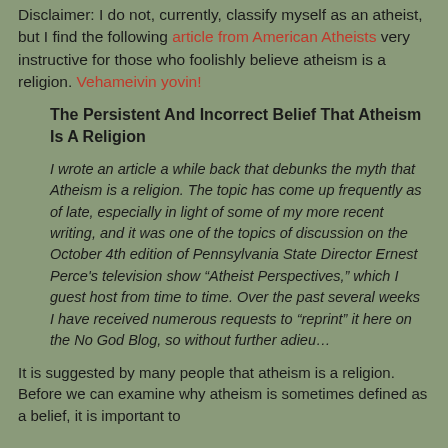Disclaimer: I do not, currently, classify myself as an atheist, but I find the following article from American Atheists very instructive for those who foolishly believe atheism is a religion. Vehameivin yovin!
The Persistent And Incorrect Belief That Atheism Is A Religion
I wrote an article a while back that debunks the myth that Atheism is a religion.  The topic has come up frequently as of late, especially in light of some of my more recent writing, and it was one of the topics of discussion on the October 4th edition of Pennsylvania State Director Ernest Perce's television show “Atheist Perspectives,” which I guest host from time to time.  Over the past several weeks I have received numerous requests to “reprint” it here on the No God Blog, so without further adieu…
It is suggested by many people that atheism is a religion.  Before we can examine why atheism is sometimes defined as a belief, it is important to